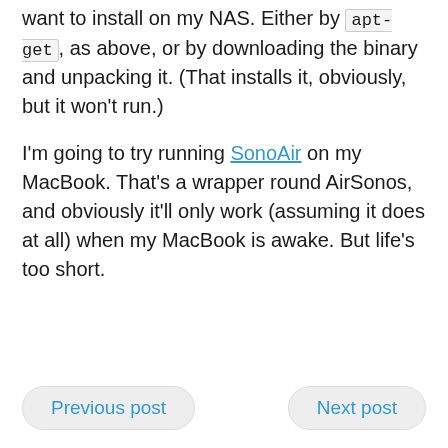want to install on my NAS. Either by apt-get, as above, or by downloading the binary and unpacking it. (That installs it, obviously, but it won't run.)
I'm going to try running SonoAir on my MacBook. That's a wrapper round AirSonos, and obviously it'll only work (assuming it does at all) when my MacBook is awake. But life's too short.
Previous post   Next post